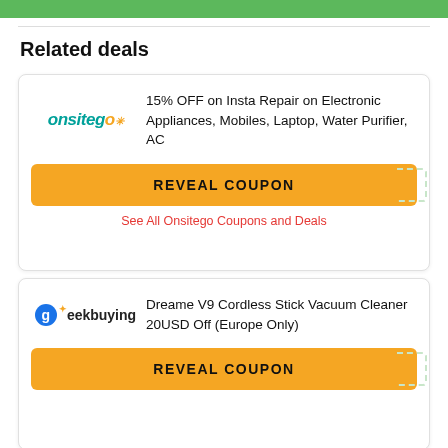Related deals
[Figure (logo): Onsitego logo in teal italic text with orange dot]
15% OFF on Insta Repair on Electronic Appliances, Mobiles, Laptop, Water Purifier, AC
REVEAL COUPON
See All Onsitego Coupons and Deals
[Figure (logo): Geekbuying logo with blue circular G icon and orange asterisk dot]
Dreame V9 Cordless Stick Vacuum Cleaner 20USD Off (Europe Only)
REVEAL COUPON